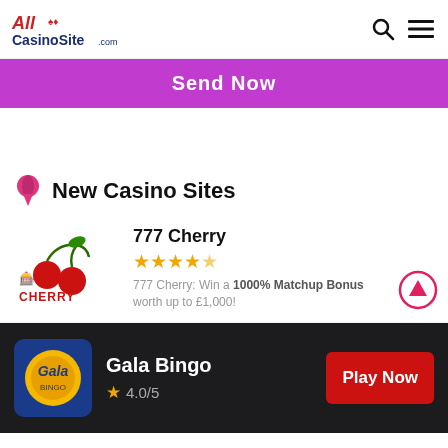AllCasinoSite.com
Send Now
New Casino Sites
777 Cherry
★★★★½
777 Cherry: Win a 1000% Matchup Bonus worth up to £1,000!
Gala Bingo
★ 4.0/5
Play Now